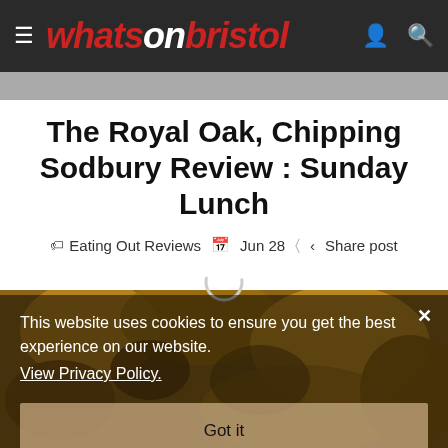whatsonbristol
The Royal Oak, Chipping Sodbury Review : Sunday Lunch
Eating Out Reviews  Jun 28  Share post
[Figure (photo): Overhead photo of roasted food items including chicken or meat with roasted potatoes, partially obscured by a semi-transparent cookie consent overlay]
This website uses cookies to ensure you get the best experience on our website. View Privacy Policy.
Got it